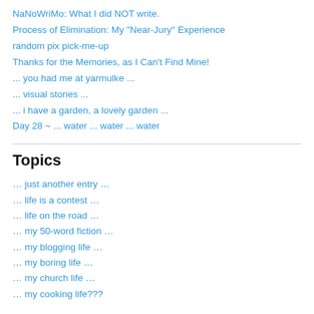NaNoWriMo: What I did NOT write.
Process of Elimination: My "Near-Jury" Experience
random pix pick-me-up
Thanks for the Memories, as I Can't Find Mine!
... you had me at yarmulke ...
... visual stories ...
... i have a garden, a lovely garden ...
Day 28 ~ ... water ... water ... water
Topics
… just another entry …
… life is a contest …
… life on the road …
… my 50-word fiction …
… my blogging life …
… my boring life …
… my church life …
… my cooking life???